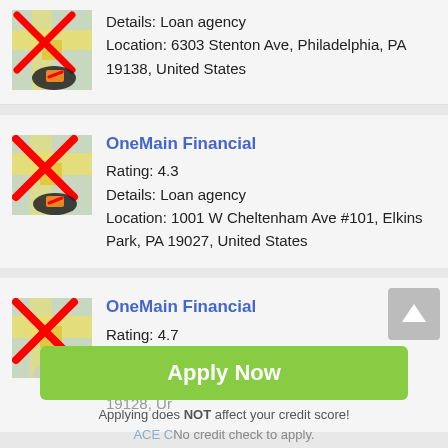Details: Loan agency
Location: 6303 Stenton Ave, Philadelphia, PA 19138, United States
OneMain Financial
Rating: 4.3
Details: Loan agency
Location: 1001 W Cheltenham Ave #101, Elkins Park, PA 19027, United States
OneMain Financial
Rating: 4.7
Details: Loan agency
Location: 6131 Ridge Ave, Philadelphia, PA 19128, United States
Apply Now
Applying does NOT affect your credit score!
ACE C... No credit check to apply.